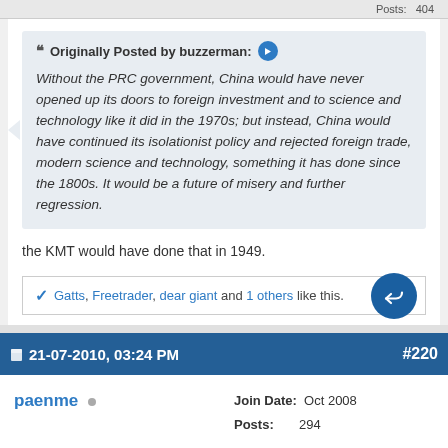Posts: 404
Originally Posted by buzzerman:
Without the PRC government, China would have never opened up its doors to foreign investment and to science and technology like it did in the 1970s; but instead, China would have continued its isolationist policy and rejected foreign trade, modern science and technology, something it has done since the 1800s. It would be a future of misery and further regression.
the KMT would have done that in 1949.
Gatts, Freetrader, dear giant and 1 others like this.
21-07-2010, 03:24 PM  #220
paenme
Join Date: Oct 2008  Posts: 294